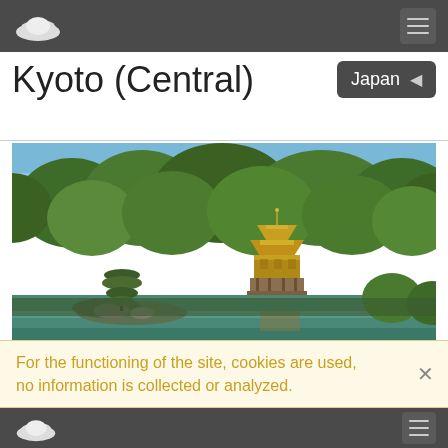Kyoto (Central)
[Figure (photo): Photo of Kinkaku-ji (Golden Pavilion) in Kyoto, Japan, surrounded by green trees and reflected in a pond with a small island in the foreground]
Kyoto was Japan's capital and the emperor's residence from 794 until 1868. It is now the country's seventh largest city with a population of 1.4 million...
For the functioning of the site, cookies are used, no information is collected or analyzed.